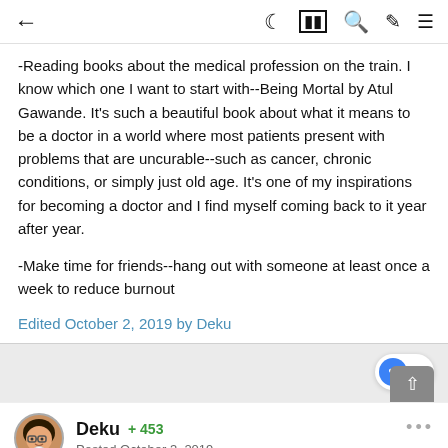← (back) | (dark mode) (layout) (search) (brush) (menu)
-Reading books about the medical profession on the train. I know which one I want to start with--Being Mortal by Atul Gawande. It's such a beautiful book about what it means to be a doctor in a world where most patients present with problems that are uncurable--such as cancer, chronic conditions, or simply just old age. It's one of my inspirations for becoming a doctor and I find myself coming back to it year after year.

-Make time for friends--hang out with someone at least once a week to reduce burnout
Edited October 2, 2019 by Deku
3 (likes)
Deku  +453
Posted October 3, 2019